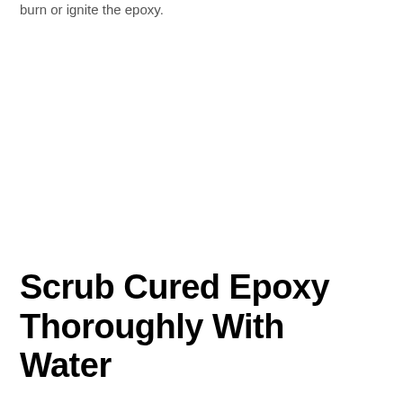burn or ignite the epoxy.
Scrub Cured Epoxy Thoroughly With Water